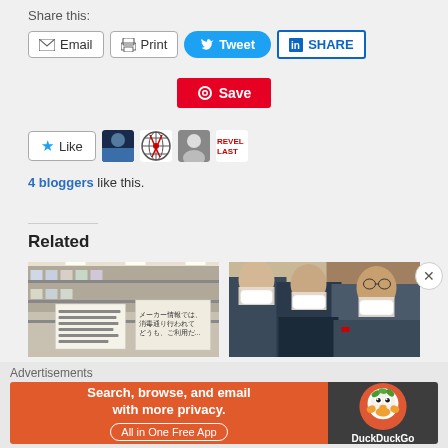Share this:
[Figure (screenshot): Social sharing buttons: Email, Print, Tweet, SHARE (LinkedIn)]
[Figure (screenshot): Save button (Pinterest)]
[Figure (screenshot): Like button with 4 blogger avatars]
4 bloggers like this.
Related
[Figure (photo): Store shelf with signs in Japanese about hoarding toilet paper]
Life in Japan With Covid-19: Hoarding
[Figure (photo): Politicians wearing face masks at a press conference in Japan]
Life in Japan With Covid-19: State of Emergency
Advertisements
[Figure (screenshot): DuckDuckGo advertisement: Search, browse, and email with more privacy. All in One Free App]